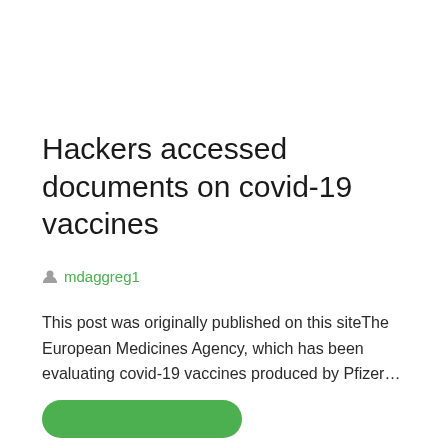Hackers accessed documents on covid-19 vaccines
mdaggreg1
This post was originally published on this siteThe European Medicines Agency, which has been evaluating covid-19 vaccines produced by Pfizer…